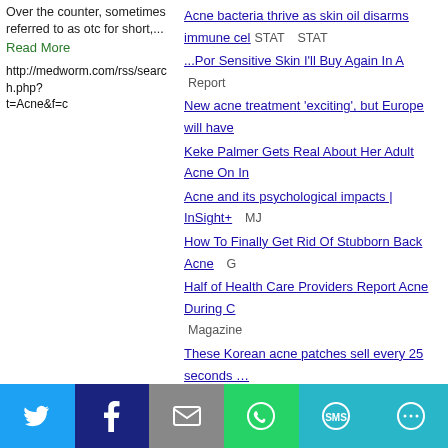Over the counter, sometimes referred to as otc for short,...
Read More
http://medworm.com/rss/search.php?t=Acne&f=c
Acne bacteria thrive as skin oil disarms immune cel... STAT  STAT
...Por Sensitive Skin I'll Buy Again In A... Report
New acne treatment 'exciting', but Europe will have...
Keke Palmer Gets Real About Her Adult Acne On In...
Acne and its psychological impacts | InSight+  MJ
How To Finally Get Rid Of Stubborn Back Acne  G
Half of Health Care Providers Report Acne During C...  Magazine
These Korean acne patches sell every 25 seconds ... all spot sizes  The Mirror
Dermatologist-Recommended Ways To Prevent Sca... Lesions  BuzzFeed News
Shoppers Say Buying This Value Set of Acne Heroe... Ever  Us Weekly
Add Some Acne Positivity To Your IG Feed With The... Influencers  The Zoe Report
Does Acne You've Ruined My Life, I Hate You...  M...
Social share bar: Twitter, Facebook, Email, WhatsApp, SMS, More